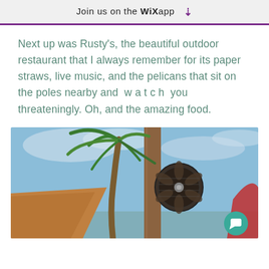Join us on the WiX app ↓
Next up was Rusty's, the beautiful outdoor restaurant that I always remember for its paper straws, live music, and the pelicans that sit on the poles nearby and  w a t c h  you threateningly. Oh, and the amazing food.
[Figure (photo): Outdoor photo at Rusty's restaurant showing a palm tree, wooden pole with a mounted fan, blue sky with clouds, a thatched roof structure, and a red umbrella. A teal chat bubble with a speech icon is overlaid at bottom right.]